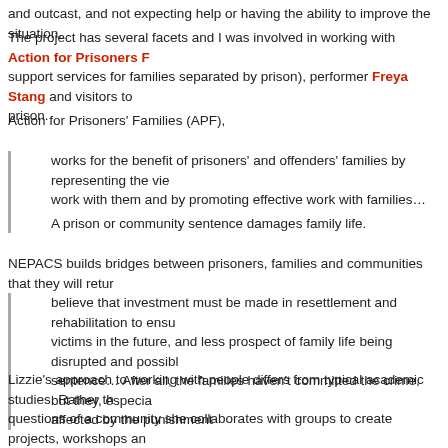and outcast, and not expecting help or having the ability to improve the situation.
The project has several facets and I was involved in working with Action for Prisoners Fa... support services for families separated by prison), performer Freya Stang and visitors to prison.
Action for Prisoners' Families (APF),
works for the benefit of prisoners' and offenders' families by representing the vie... work with them and by promoting effective work with families… A prison or community sentence damages family life.
NEPACS builds bridges between prisoners, families and communities that they will retur...
believe that investment must be made in resettlement and rehabilitation to ensu... victims in the future, and less prospect of family life being disrupted and possibl... sentence… After all, the families haven't committed the crime, but they, especia... affected by the punishment
Lizzie's approach to working with people differs from typical academic studies. Rather th... questions of a community she collaborates with groups to create projects, workshops an... value to that group, rather than just to fulfill research ends, she often works with artists, partners and participants in articulating ideas.